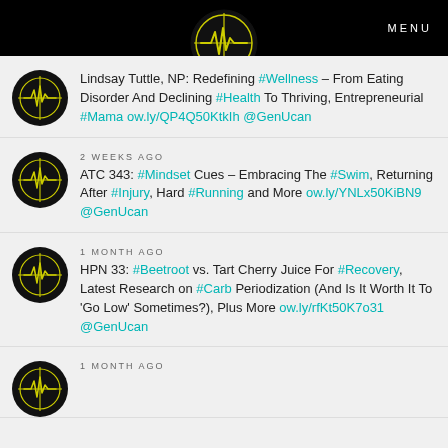MENU
[Figure (logo): Yellow heartbeat/pulse logo on black circular background, centered in header]
Lindsay Tuttle, NP: Redefining #Wellness – From Eating Disorder And Declining #Health To Thriving, Entrepreneurial #Mama ow.ly/QP4Q50KtkIh @GenUcan
2 WEEKS AGO
ATC 343: #Mindset Cues – Embracing The #Swim, Returning After #Injury, Hard #Running and More ow.ly/YNLx50KiBN9 @GenUcan
1 MONTH AGO
HPN 33: #Beetroot vs. Tart Cherry Juice For #Recovery, Latest Research on #Carb Periodization (And Is It Worth It To 'Go Low' Sometimes?), Plus More ow.ly/rfKt50K7o31 @GenUcan
1 MONTH AGO